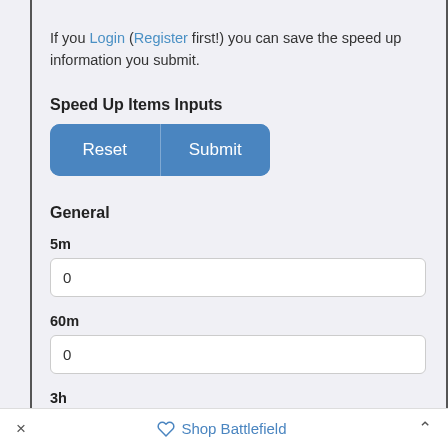If you Login (Register first!) you can save the speed up information you submit.
Speed Up Items Inputs
[Figure (screenshot): A button group with 'Reset' and 'Submit' buttons in blue]
General
5m
0
60m
0
3h
× Shop Battlefield ^